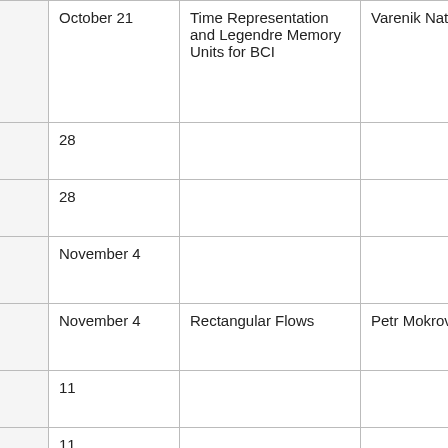|  | Date | Topic | Speaker | Materials |
| --- | --- | --- | --- | --- |
|  | October 21 | Time Representation and Legendre Memory Units for BCI | Varenik Natalia | slides 🔒 |
|  | 28 |  |  |  |
|  | 28 |  |  |  |
|  | November 4 |  |  |  |
|  | November 4 | Rectangular Flows | Petr Mokrov | slides 🔒 |
|  | 11 |  |  |  |
|  | 11 |  |  |  |
|  | 18 |  |  |  |
|  | 18 |  |  |  |
|  | 25 |  |  |  |
|  | 25 |  |  |  |
|  | December 2 |  |  |  |
|  | 2 |  |  |  |